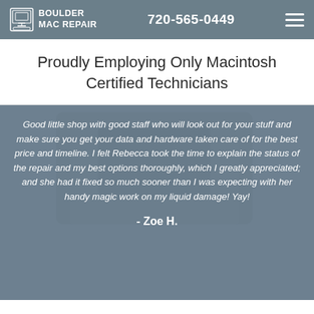Boulder Mac Repair — 720-565-0449
Proudly Employing Only Macintosh Certified Technicians
Good little shop with good staff who will look out for your stuff and make sure you get your data and hardware taken care of for the best price and timeline. I felt Rebecca took the time to explain the status of the repair and my best options thoroughly, which I greatly appreciated; and she had it fixed so much sooner than I was expecting with her handy magic work on my liquid damage! Yay!
- Zoe H.